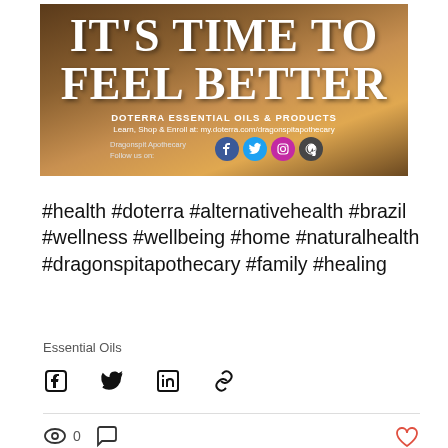[Figure (photo): Promotional banner for doTERRA Essential Oils with large white serif text reading IT'S TIME TO FEEL BETTER on a warm brown/golden background, with social media icons (Facebook, Twitter, Instagram, WordPress) and text: DOTERRA ESSENTIAL OILS & PRODUCTS, Learn, Shop & Enroll at: my.doterra.com/dragonspitapothecary, Dragonspit Apothecary Follow us on:]
#health #doterra #alternativehealth #brazil #wellness #wellbeing #home #naturalhealth #dragonspitapothecary #family #healing
Essential Oils
Share via Facebook, Twitter, LinkedIn, Link icons
0 views, 0 comments, 0 likes